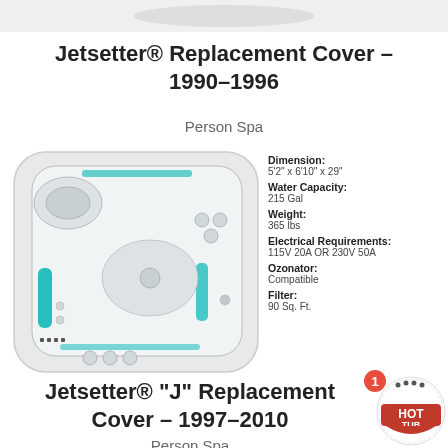[Figure (photo): Partial view of a white hot tub cover from above]
Jetsetter® Replacement Cover – 1990–1996
Person Spa
[Figure (photo): Top-down view of a Jetsetter hot tub/spa showing seating arrangement, jets, and teal colored features]
Dimension: 5'2" x 6'10" x 29"
Water Capacity: 215 Gal
Weight: 365 lbs
Electrical Requirements: 115V 20A OR 230V 50A
Ozonator: Compatible
Filter: 90 Sq. Ft.
Jetsetter® "J" Replacement Cover – 1997–2010
Person Spa
[Figure (logo): Hot Tub logo badge circular red and white]